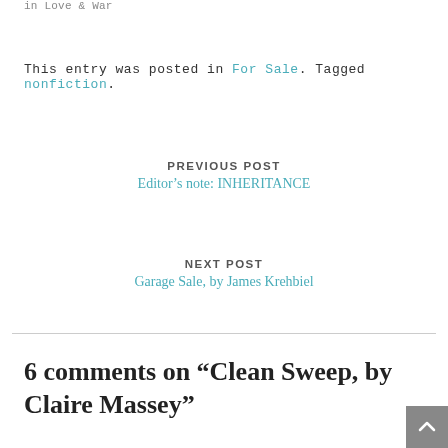in  Love & War
This entry was posted in For Sale. Tagged nonfiction.
PREVIOUS POST
Editor's note: INHERITANCE
NEXT POST
Garage Sale, by James Krehbiel
6 comments on “Clean Sweep, by Claire Massey”